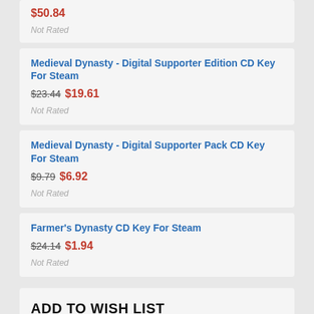$50.84 Not Rated
Medieval Dynasty - Digital Supporter Edition CD Key For Steam $23.44 $19.61 Not Rated
Medieval Dynasty - Digital Supporter Pack CD Key For Steam $9.79 $6.92 Not Rated
Farmer's Dynasty CD Key For Steam $24.14 $1.94 Not Rated
ADD TO WISH LIST